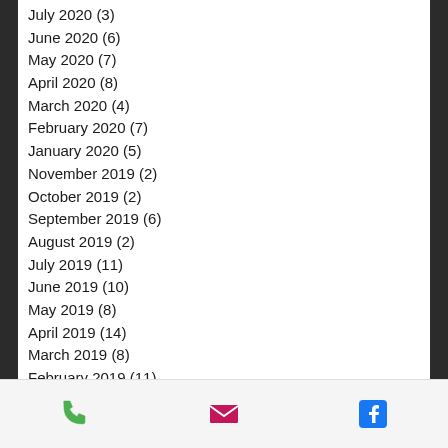July 2020 (3)
June 2020 (6)
May 2020 (7)
April 2020 (8)
March 2020 (4)
February 2020 (7)
January 2020 (5)
November 2019 (2)
October 2019 (2)
September 2019 (6)
August 2019 (2)
July 2019 (11)
June 2019 (10)
May 2019 (8)
April 2019 (14)
March 2019 (8)
February 2019 (11)
January 2019 (11)
December 2018 (5)
November 2018 (9)
October 2018 (13)
September 2018 (9)